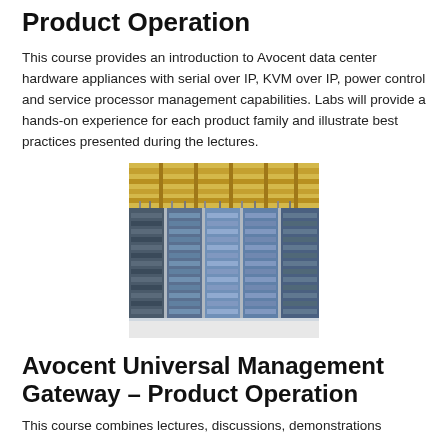Product Operation
This course provides an introduction to Avocent data center hardware appliances with serial over IP, KVM over IP, power control and service processor management capabilities. Labs will provide a hands-on experience for each product family and illustrate best practices presented during the lectures.
[Figure (photo): Data center interior showing rows of server racks with yellow cable trays overhead and blue server units.]
Avocent Universal Management Gateway – Product Operation
This course combines lectures, discussions, demonstrations